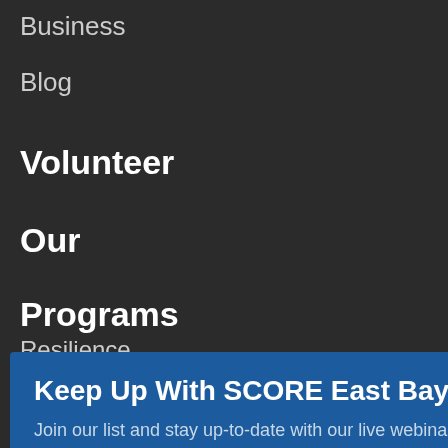Business
Blog
Volunteer
Our
Programs
Keep Up With SCORE East Bay
Join our list and stay up-to-date with our live webinars designed to help you start and grow a successful business.
Resilience
Learning
Center
Virtual